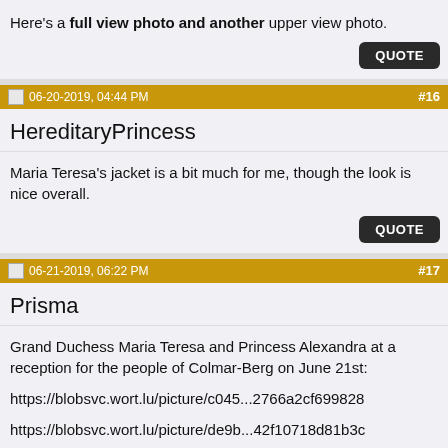Here's a full view photo and another upper view photo.
QUOTE
06-20-2019, 04:44 PM  #16
HereditaryPrincess
Maria Teresa's jacket is a bit much for me, though the look is nice overall.
QUOTE
06-21-2019, 06:22 PM  #17
Prisma
Grand Duchess Maria Teresa and Princess Alexandra at a reception for the people of Colmar-Berg on June 21st:

https://blobsvc.wort.lu/picture/c045...2766a2cf699828

https://blobsvc.wort.lu/picture/de9b...42f10718d81b3c

https://blobsvc.wort.lu/picture/6769...ff845d337b6f5d